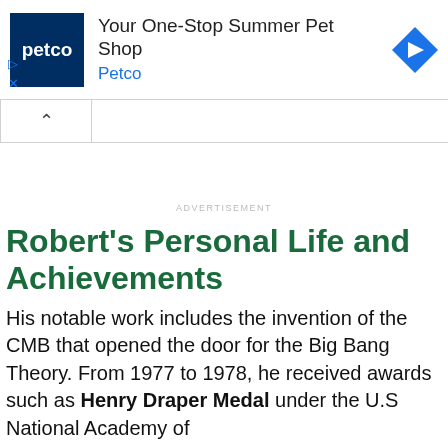[Figure (screenshot): Petco advertisement banner with logo, text 'Your One-Stop Summer Pet Shop', 'Petco', and a navigation arrow icon. Below is a collapse control button.]
ADVERTISEMENT
Robert's Personal Life and Achievements
His notable work includes the invention of the CMB that opened the door for the Big Bang Theory. From 1977 to 1978, he received awards such as Henry Draper Medal under the U.S National Academy of